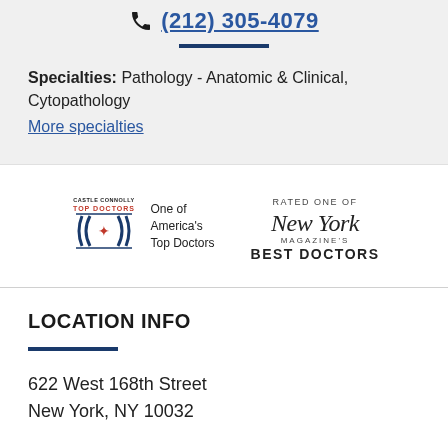(212) 305-4079
Specialties: Pathology - Anatomic & Clinical, Cytopathology
More specialties
[Figure (logo): Castle Connolly Top Doctors badge with 'One of America's Top Doctors' text]
[Figure (logo): Rated One of New York Magazine's Best Doctors badge]
LOCATION INFO
622 West 168th Street
New York, NY 10032